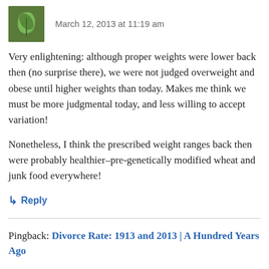March 12, 2013 at 11:19 am
Very enlightening: although proper weights were lower back then (no surprise there), we were not judged overweight and obese until higher weights than today. Makes me think we must be more judgmental today, and less willing to accept variation!
Nonetheless, I think the prescribed weight ranges back then were probably healthier–pre-genetically modified wheat and junk food everywhere!
↳ Reply
Pingback: Divorce Rate: 1913 and 2013 | A Hundred Years Ago